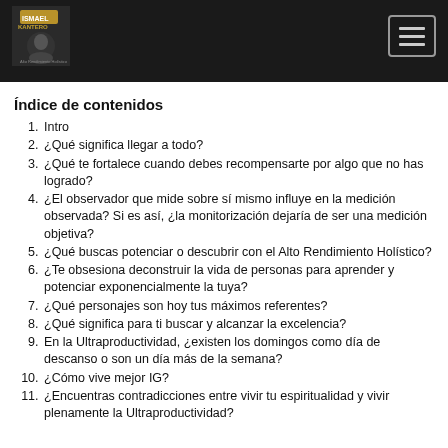Header with logo and hamburger menu
Índice de contenidos
1. Intro
2. ¿Qué significa llegar a todo?
3. ¿Qué te fortalece cuando debes recompensarte por algo que no has logrado?
4. ¿El observador que mide sobre sí mismo influye en la medición observada? Si es así, ¿la monitorización dejaría de ser una medición objetiva?
5. ¿Qué buscas potenciar o descubrir con el Alto Rendimiento Holístico?
6. ¿Te obsesiona deconstruir la vida de personas para aprender y potenciar exponencialmente la tuya?
7. ¿Qué personajes son hoy tus máximos referentes?
8. ¿Qué significa para ti buscar y alcanzar la excelencia?
9. En la Ultraproductividad, ¿existen los domingos como día de descanso o son un día más de la semana?
10. ¿Cómo vive mejor IG?
11. ¿Encuentras contradicciones entre vivir tu espiritualidad y vivir plenamente la Ultraproductividad?